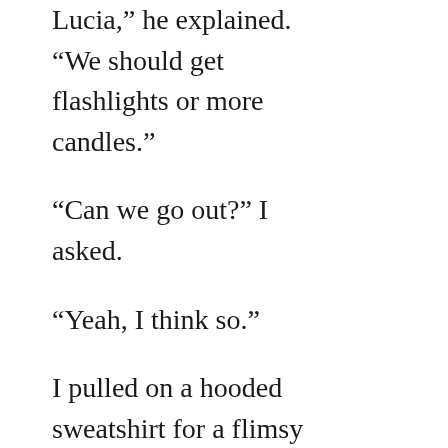Lucia,” he explained. “We should get flashlights or more candles.”
“Can we go out?” I asked.
“Yeah, I think so.”
I pulled on a hooded sweatshirt for a flimsy sense of protection and we shuffled downstairs and out of the house onto the street. There